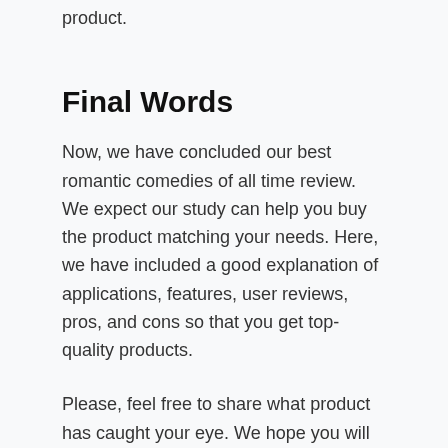product.
Final Words
Now, we have concluded our best romantic comedies of all time review. We expect our study can help you buy the product matching your needs. Here, we have included a good explanation of applications, features, user reviews, pros, and cons so that you get top-quality products.
Please, feel free to share what product has caught your eye. We hope you will buy any of our selected items as we have already proved why they are best. Indeed, buyers are craving to buy them. Spending time on other products in confusion may